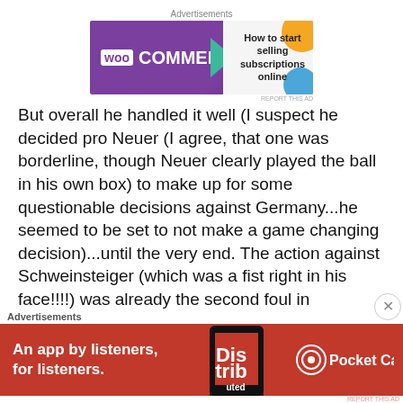[Figure (other): WooCommerce advertisement banner: purple background with WooCommerce logo on left, green arrow shape, white right section with text 'How to start selling subscriptions online' and decorative colored circles]
But overall he handled it well (I suspect he decided pro Neuer (I agree, that one was borderline, though Neuer clearly played the ball in his own box) to make up for some questionable decisions against Germany...he seemed to be set to not make a game changing decision)...until the very end. The action against Schweinsteiger (which was a fist right in his face!!!!) was already the second foul in
[Figure (other): Pocket Casts advertisement banner: red background with text 'An app by listeners, for listeners.' on left, phone image in center, Pocket Casts logo on right]